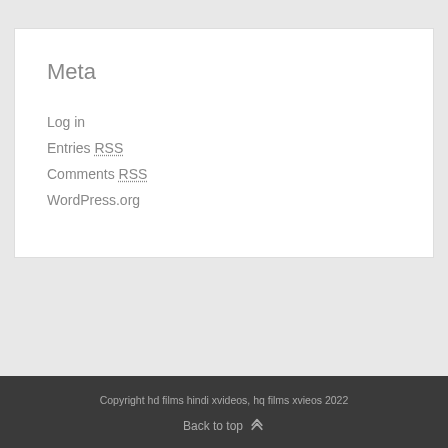Meta
Log in
Entries RSS
Comments RSS
WordPress.org
Copyright hd films hindi xvideos, hq films xvieos 2022
Back to top